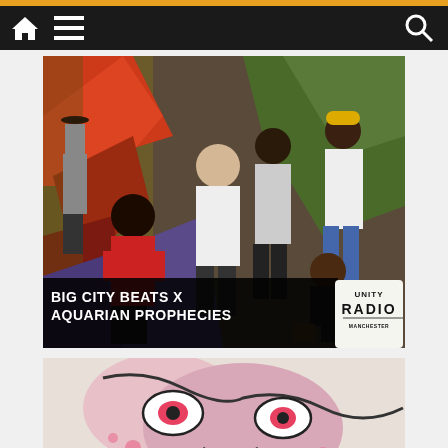[Figure (screenshot): Website navigation bar with orange top strip, dark background, home icon, hamburger menu icon, and search icon on the right]
[Figure (photo): Group photo of hip-hop artists posing in front of graffiti wall. Text overlay reads BIG CITY BEATS X AQUARIAN PROPHECIES with Unity Radio Manchester badge in bottom right corner.]
[Figure (photo): Close-up of colorful graffiti art with pink and purple tones, partially visible, with an upward-pointing arrow in the bottom right.]